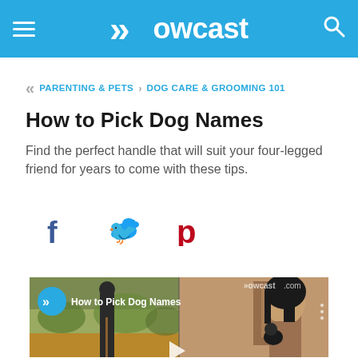Howcast
PARENTING & PETS › DOG CARE & GROOMING 101
How to Pick Dog Names
Find the perfect handle that will suit your four-legged friend for years to come with these tips.
[Figure (screenshot): Social sharing icons: Facebook (f), Twitter (bird icon), Pinterest (p)]
[Figure (screenshot): Video thumbnail showing 'How to Pick Dog Names' with Howcast branding, split-screen with outdoor person with dog and indoor woman with dog, play button visible]